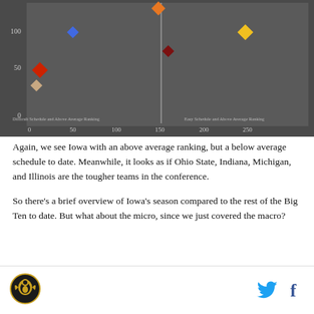[Figure (scatter-plot): Scatter plot on dark background with quadrants: 'Difficult Schedule and Above Average Ranking' (top-left) and 'Easy Schedule and Above Average Ranking' (top-right). X-axis 0-250, Y-axis 0-100+. Diamond markers in orange, blue, red, tan, dark-red, yellow colors.]
Again, we see Iowa with an above average ranking, but a below average schedule to date. Meanwhile, it looks as if Ohio State, Indiana, Michigan, and Illinois are the tougher teams in the conference.
So there's a brief overview of Iowa's season compared to the rest of the Big Ten to date. But what about the micro, since we just covered the macro?
[Figure (logo): Hawkeye logo (circular gold/black eagle emblem) in the footer]